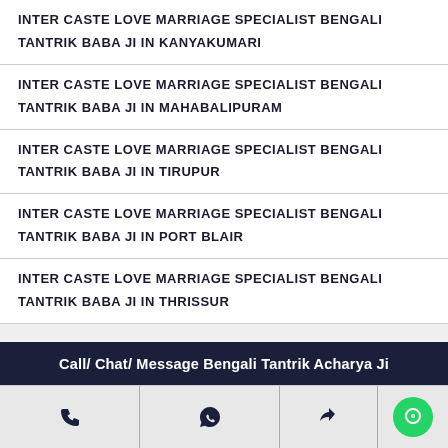INTER CASTE LOVE MARRIAGE SPECIALIST BENGALI TANTRIK BABA JI IN KANYAKUMARI
INTER CASTE LOVE MARRIAGE SPECIALIST BENGALI TANTRIK BABA JI IN MAHABALIPURAM
INTER CASTE LOVE MARRIAGE SPECIALIST BENGALI TANTRIK BABA JI IN TIRUPUR
INTER CASTE LOVE MARRIAGE SPECIALIST BENGALI TANTRIK BABA JI IN PORT BLAIR
INTER CASTE LOVE MARRIAGE SPECIALIST BENGALI TANTRIK BABA JI IN THRISSUR
Call/ Chat/ Message Bengali Tantrik Acharya Ji